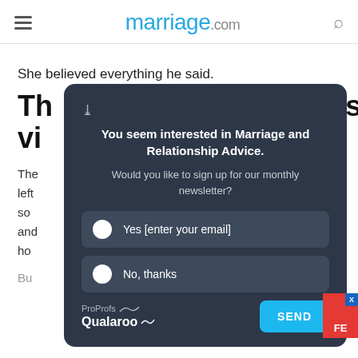marriage.com
She believed everything he said.
Th... uous vi...
The... pills, he left... needed so... alone and... t know ho...
[Figure (screenshot): Qualaroo popup widget on marriage.com asking 'You seem interested in Marriage and Relationship Advice. Would you like to sign up for our monthly newsletter?' with Yes [enter your email] and No, thanks radio options and a SEND button.]
Bu...